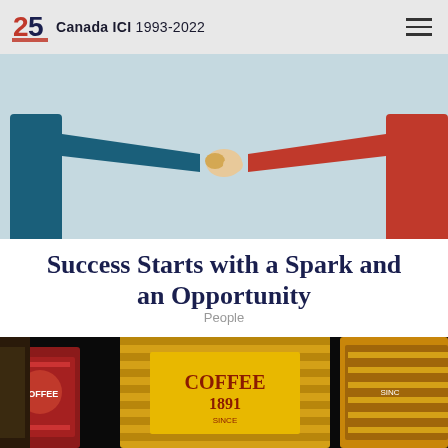Canada ICI 1993-2022
[Figure (illustration): Two stylized figures shaking hands — one dressed in dark teal/navy and one in red — against a light blue background. The illustration depicts a handshake partnership concept.]
Success Starts with a Spark and an Opportunity
People
[Figure (photo): Close-up photo of vintage coffee tins/cans with labels, including one reading '1891', against a dark background with colorful decorative patterns.]